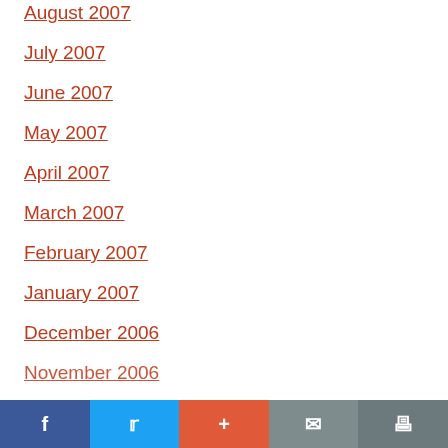August 2007
July 2007
June 2007
May 2007
April 2007
March 2007
February 2007
January 2007
December 2006
November 2006